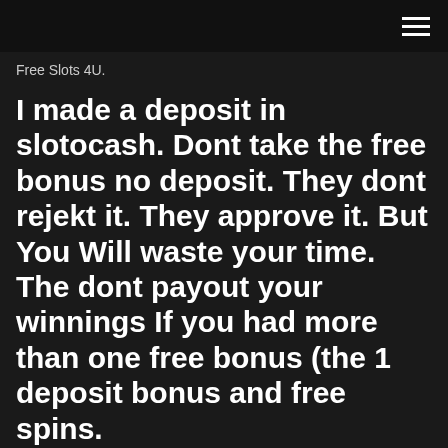Free Slots 4U.
I made a deposit in slotocash. Dont take the free bonus no deposit. They dont rejekt it. They approve it. But You Will waste your time. The dont payout your winnings If you had more than one free bonus (the 1 deposit bonus and free spins.
Click here to view all Short News Thepogg.com reports that Amigotechs software is caught for cheating players with rigged games. Affarner is an affliste program using the